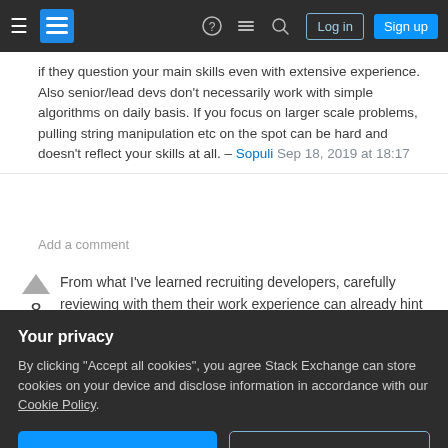Stack Exchange navigation bar with hamburger, logo, help, chat, search, log in, sign up
if they question your main skills even with extensive experience. Also senior/lead devs don't necessarily work with simple algorithms on daily basis. If you focus on larger scale problems, pulling string manipulation etc on the spot can be hard and doesn't reflect your skills at all. – Sopuli Sep 18, 2019 at 18:17
Add a comment
From what I've learned recruiting developers, carefully reviewing with them their work experience can already hint you a lot to what to expect in terms
Your privacy
By clicking "Accept all cookies", you agree Stack Exchange can store cookies on your device and disclose information in accordance with our Cookie Policy.
Accept all cookies   Customize settings
matters in a company, actually), the team size they